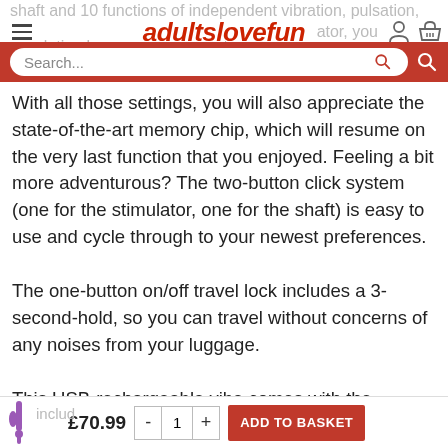adultslovefun — website header with hamburger menu, logo, user and basket icons, and search bar
shaft and 10 functions of independent vibration, pulsation, escalation by the stimulator, you will always feel your own personal buddy system in intense
With all those settings, you will also appreciate the state-of-the-art memory chip, which will resume on the very last function that you enjoyed. Feeling a bit more adventurous? The two-button click system (one for the stimulator, one for the shaft) is easy to use and cycle through to your newest preferences.
The one-button on/off travel lock includes a 3-second-hold, so you can travel without concerns of any noises from your luggage.
This USB-rechargeable vibe comes with the charging cord includ
£70.99  -  1  +  ADD TO BASKET